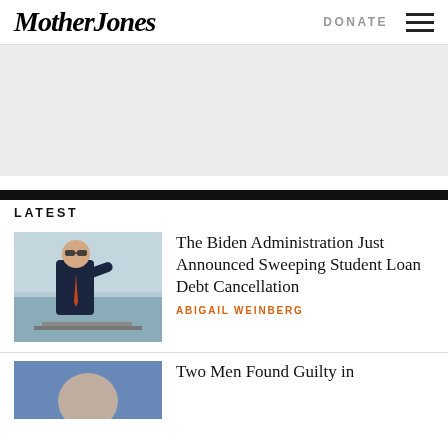Mother Jones
DONATE
[Figure (other): Gray advertisement banner placeholder]
LATEST
[Figure (photo): Photo of President Biden in sunglasses and dark suit, standing at a podium outdoors]
The Biden Administration Just Announced Sweeping Student Loan Debt Cancellation
ABIGAIL WEINBERG
[Figure (photo): Photo thumbnail for second article, partial view]
Two Men Found Guilty in